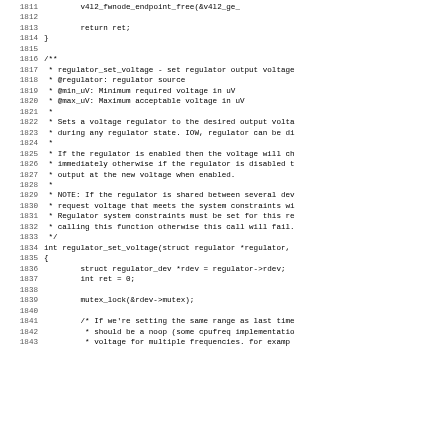Source code listing, lines 1811-1843, showing regulator_set_voltage function documentation and beginning of implementation in C.